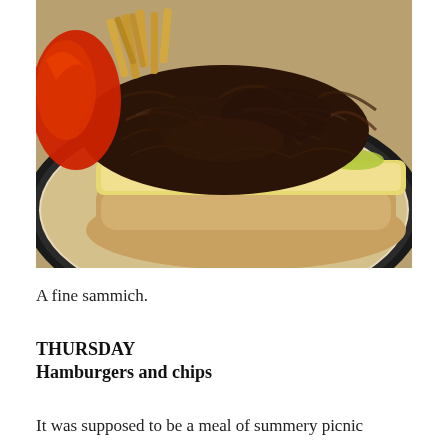[Figure (photo): Close-up photograph of a shredded beef sandwich on a hoagie roll with melted cheese and banana peppers on a dark plate, with french fries and red peppers visible in the background.]
A fine sammich.
THURSDAY
Hamburgers and chips
It was supposed to be a meal of summery picnic